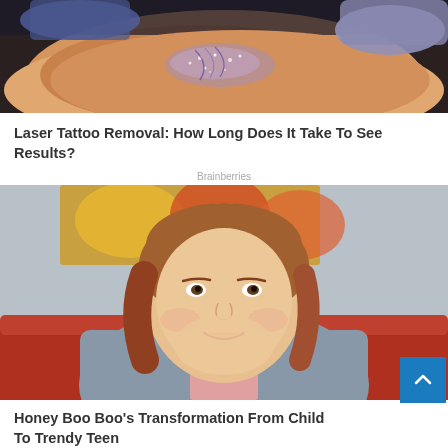[Figure (photo): Close-up photo of a tattoo on skin being treated with laser removal, showing a feather/floral tattoo design with glittery/sparkly treatment effect]
Laser Tattoo Removal: How Long Does It Take To See Results?
Brainberries
[Figure (photo): Young teenage girl with wavy reddish-brown hair, wearing a light blue denim shirt over a pink top, sitting on a red couch, smiling at camera. Colorful painting visible in background.]
Honey Boo Boo's Transformation From Child To Trendy Teen